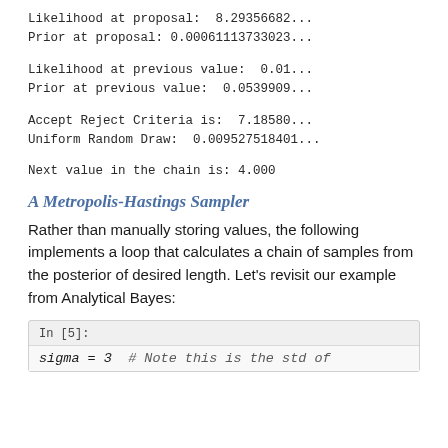Likelihood at proposal:  8.29356682...
Prior at proposal: 0.00061113733023...
Likelihood at previous value:  0.01...
Prior at previous value:  0.0539909...
Accept Reject Criteria is:  7.18580...
Uniform Random Draw:  0.009527518401...
Next value in the chain is: 4.000
A Metropolis-Hastings Sampler
Rather than manually storing values, the following implements a loop that calculates a chain of samples from the posterior of desired length. Let's revisit our example from Analytical Bayes:
In [5]:
sigma = 3  # Note this is the std of